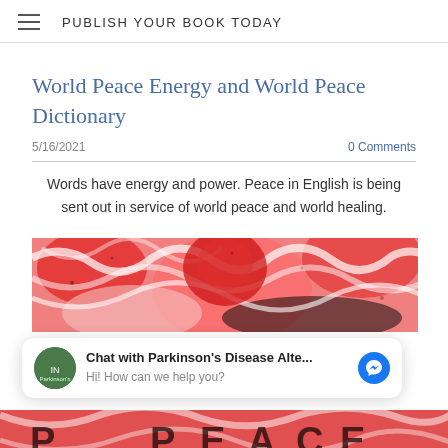PUBLISH YOUR BOOK TODAY
World Peace Energy and World Peace Dictionary
5/16/2021
0 Comments
Words have energy and power. Peace in English is being sent out in service of world peace and world healing.
[Figure (photo): Abstract red, pink and white swirling fractal pattern with text PEACE partially visible at bottom]
Chat with Parkinson's Disease Alte...
Hi! How can we help you?